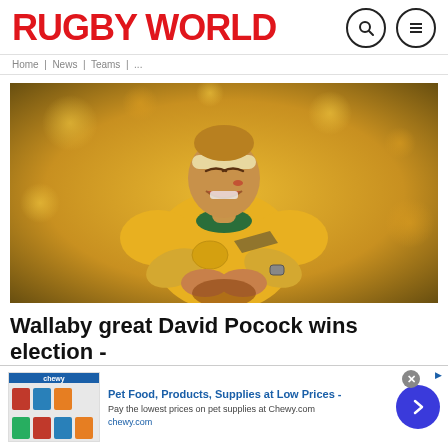RUGBY WORLD
[Figure (photo): Australian Wallabies rugby player David Pocock in yellow jersey, smiling with blood on his face, wearing a headband, holding a rugby ball against a golden bokeh background]
Wallaby great David Pocock wins election - Rugby World
[Figure (infographic): Advertisement banner for Chewy.com - Pet Food, Products, Supplies at Low Prices - Pay the lowest prices on pet supplies at Chewy.com]